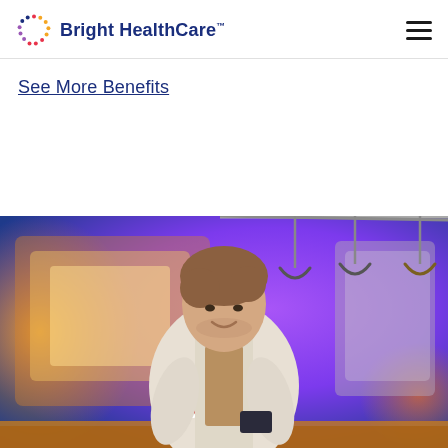Bright HealthCare
See More Benefits
[Figure (photo): A young man smiling and looking at his smartphone while standing in a subway/train car. The background shows colorful purple and blue lighting with train windows and hanging straps visible.]